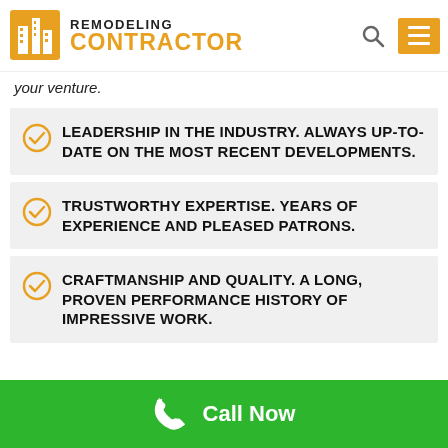REMODELING CONTRACTOR
your venture.
LEADERSHIP IN THE INDUSTRY. ALWAYS UP-TO-DATE ON THE MOST RECENT DEVELOPMENTS.
TRUSTWORTHY EXPERTISE. YEARS OF EXPERIENCE AND PLEASED PATRONS.
CRAFTMANSHIP AND QUALITY. A LONG, PROVEN PERFORMANCE HISTORY OF IMPRESSIVE WORK.
Call Now